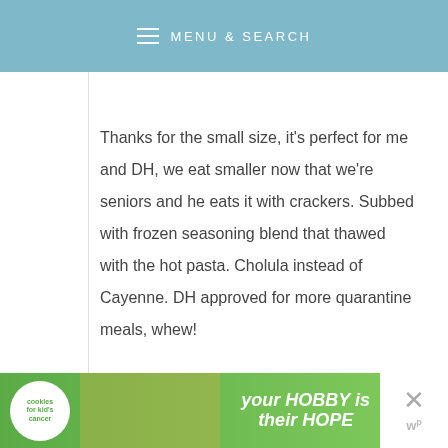MENU & SEARCH
Thanks for the small size, it's perfect for me and DH, we eat smaller now that we're seniors and he eats it with crackers. Subbed with frozen seasoning blend that thawed with the hot pasta. Cholula instead of Cayenne. DH approved for more quarantine meals, whew!
Reply
[Figure (other): Green advertisement banner for 'Cookies for Kid's Cancer' featuring a heart-shaped cookie with text 'your HOBBY is their HOPE']